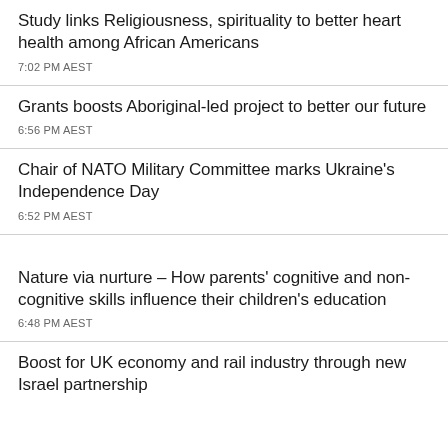Study links Religiousness, spirituality to better heart health among African Americans
7:02 PM AEST
Grants boosts Aboriginal-led project to better our future
6:56 PM AEST
Chair of NATO Military Committee marks Ukraine's Independence Day
6:52 PM AEST
Nature via nurture – How parents' cognitive and non-cognitive skills influence their children's education
6:48 PM AEST
Boost for UK economy and rail industry through new Israel partnership